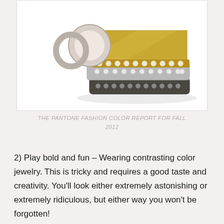[Figure (photo): A close-up photograph of three stacked decorative rings on a white background. The top ring is gold with diamond/crystal embellishments, the middle ring is silver-toned with clear crystals, and the bottom ring is dark gunmetal with small metallic studs.]
THE PANTONE FASHION COLOR REPORT FOR FALL 2012
2) Play bold and fun – Wearing contrasting color jewelry. This is tricky and requires a good taste and creativity. You'll look either extremely astonishing or extremely ridiculous, but either way you won't be forgotten!